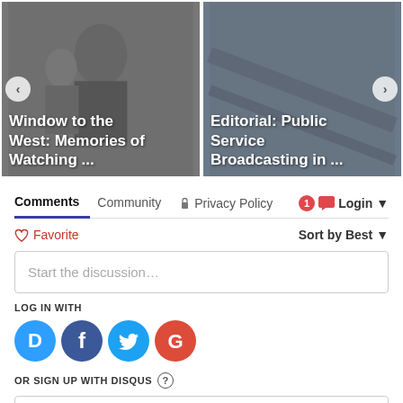[Figure (screenshot): Two article thumbnail cards side by side. Left card shows black and white photo with title 'Window to the West: Memories of Watching ...'. Right card shows gray image with title 'Editorial: Public Service Broadcasting in ...']
Comments  Community  🔒 Privacy Policy  1  Login ▼
♡ Favorite   Sort by Best ▼
Start the discussion…
LOG IN WITH
[Figure (logo): Social login icons: Disqus (blue D), Facebook (dark blue f), Twitter (light blue bird), Google (red G)]
OR SIGN UP WITH DISQUS ?
Name